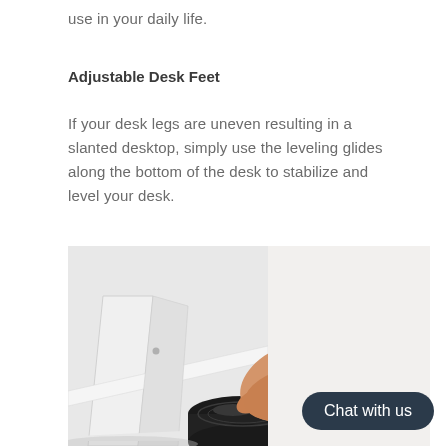use in your daily life.
Adjustable Desk Feet
If your desk legs are uneven resulting in a slanted desktop, simply use the leveling glides along the bottom of the desk to stabilize and level your desk.
[Figure (photo): A hand adjusting a black circular leveling glide foot on the bottom of a white desk leg. The person is turning/adjusting the glide with their fingers.]
Chat with us